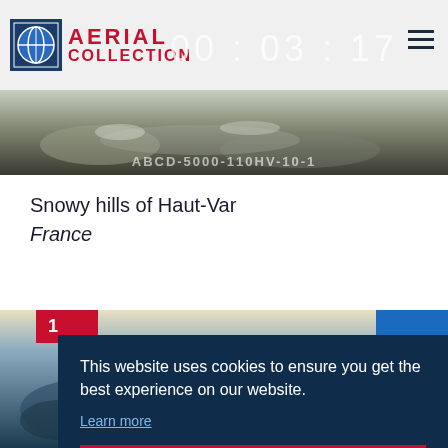[Figure (logo): Aerial Collection logo with globe icon and red text 'AERIAL COLLECTION']
[Figure (photo): Aerial photo of snowy hills, with timer overlay '00 : 03 : 17' and code 'ABCD-5000-110HV-10-1']
Snowy hills of Haut-Var
France
[Figure (photo): Aerial photo of a coastal/mountain scene below the cookie banner]
This website uses cookies to ensure you get the best experience on our website.
Learn more
Got it!